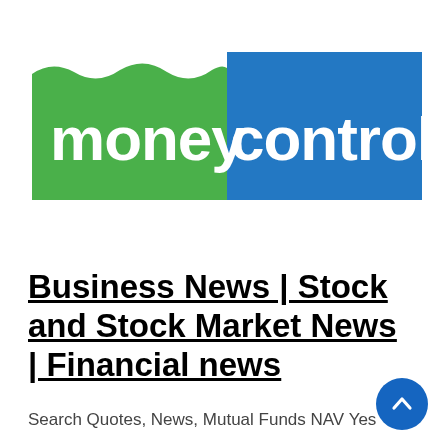[Figure (logo): Moneycontrol logo with green and blue background and white text reading 'moneycontrol']
Business News | Stock and Stock Market News | Financial news
Search Quotes, News, Mutual Funds NAV Yes